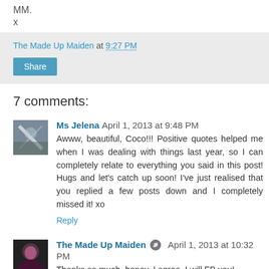MM.
x
The Made Up Maiden at 9:27 PM
Share
7 comments:
Ms Jelena April 1, 2013 at 9:48 PM
Awww, beautiful, Coco!!! Positive quotes helped me when I was dealing with things last year, so I can completely relate to everything you said in this post! Hugs and let's catch up soon! I've just realised that you replied a few posts down and I completely missed it! xo
Reply
The Made Up Maiden April 1, 2013 at 10:32 PM
Thanks so much, honey. I agree, I will FB you!